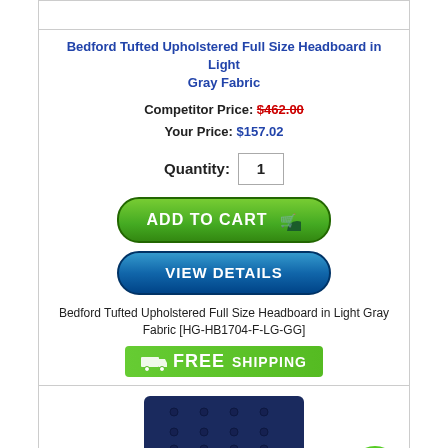Bedford Tufted Upholstered Full Size Headboard in Light Gray Fabric
Competitor Price: $462.00
Your Price: $157.02
Quantity: 1
[Figure (screenshot): Green Add to Cart button with shopping cart icon]
[Figure (screenshot): Blue View Details button]
Bedford Tufted Upholstered Full Size Headboard in Light Gray Fabric [HG-HB1704-F-LG-GG]
[Figure (infographic): Green Free Shipping banner with truck icon]
[Figure (photo): Navy blue tufted upholstered headboard on black metal legs]